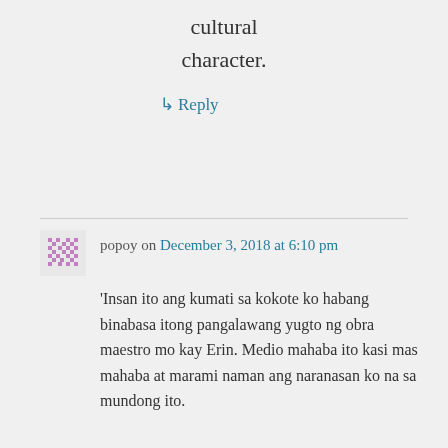cultural character.
↳ Reply
popoy on December 3, 2018 at 6:10 pm
'Insan ito ang kumati sa kokote ko habang binabasa itong pangalawang yugto ng obra maestro mo kay Erin. Medio mahaba ito kasi mas mahaba at marami naman ang naranasan ko na sa mundong ito.